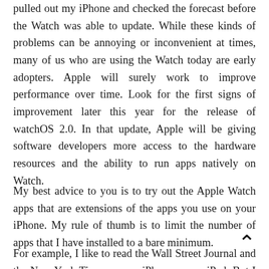pulled out my iPhone and checked the forecast before the Watch was able to update. While these kinds of problems can be annoying or inconvenient at times, many of us who are using the Watch today are early adopters. Apple will surely work to improve performance over time. Look for the first signs of improvement later this year for the release of watchOS 2.0. In that update, Apple will be giving software developers more access to the hardware resources and the ability to run apps natively on Watch.
My best advice to you is to try out the Apple Watch apps that are extensions of the apps you use on your iPhone. My rule of thumb is to limit the number of apps that I have installed to a bare minimum.
For example, I like to read the Wall Street Journal and the New York Times on my iPhone or my iPad. But I don't